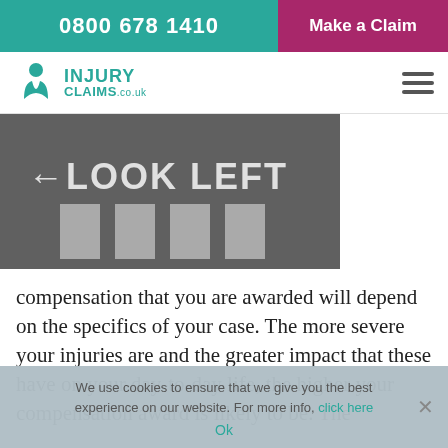0800 678 1410   Make a Claim
[Figure (logo): Injury Claims .co.uk logo with teal person icon]
[Figure (photo): Road surface with painted white arrow and text reading LOOK LEFT]
compensation that you are awarded will depend on the specifics of your case. The more severe your injuries are and the greater impact that these have on your day-to-day life, the higher your compensation award is likely to be. The
We use cookies to ensure that we give you the best experience on our website. For more info, click here
Ok